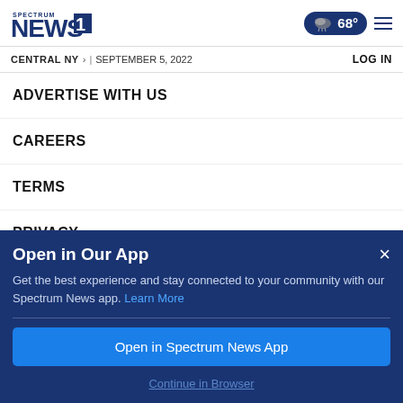Spectrum NEWS1 | CENTRAL NY > | SEPTEMBER 5, 2022 | LOG IN | 68°
ADVERTISE WITH US
CAREERS
TERMS
PRIVACY
Open in Our App
Get the best experience and stay connected to your community with our Spectrum News app. Learn More
Open in Spectrum News App
Continue in Browser